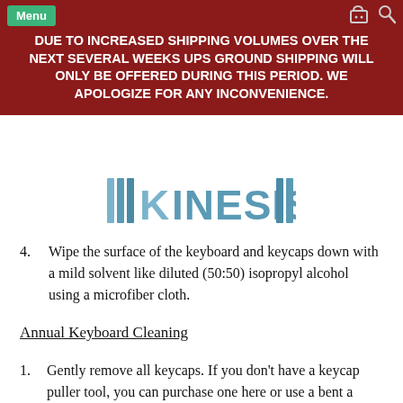DUE TO INCREASED SHIPPING VOLUMES OVER THE NEXT SEVERAL WEEKS UPS GROUND SHIPPING WILL ONLY BE OFFERED DURING THIS PERIOD. WE APOLOGIZE FOR ANY INCONVENIENCE.
[Figure (logo): Kinesis logo — stylized vertical bar stripes spelling KINESIS in blue-grey tones]
4. Wipe the surface of the keyboard and keycaps down with a mild solvent like diluted (50:50) isopropyl alcohol using a microfiber cloth.
Annual Keyboard Cleaning
1. Gently remove all keycaps. If you don't have a keycap puller tool, you can purchase one here or use a bent a paper clip.
2. Turn the keyboard over a trash can and shake out